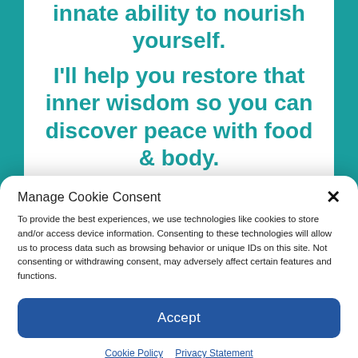innate ability to nourish yourself.
I'll help you restore that inner wisdom so you can discover peace with food & body.
Manage Cookie Consent
To provide the best experiences, we use technologies like cookies to store and/or access device information. Consenting to these technologies will allow us to process data such as browsing behavior or unique IDs on this site. Not consenting or withdrawing consent, may adversely affect certain features and functions.
Accept
Cookie Policy  Privacy Statement